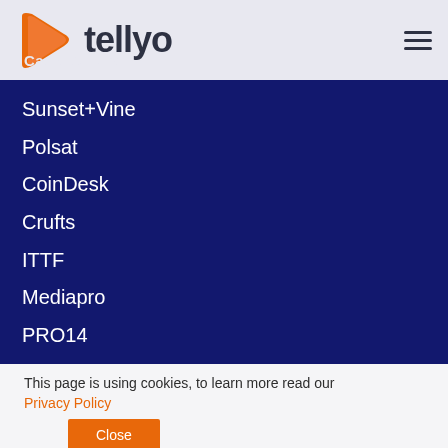tellyo — Case Studies
Sunset+Vine
Polsat
CoinDesk
Crufts
ITTF
Mediapro
PRO14
This page is using cookies, to learn more read our Privacy Policy
Close